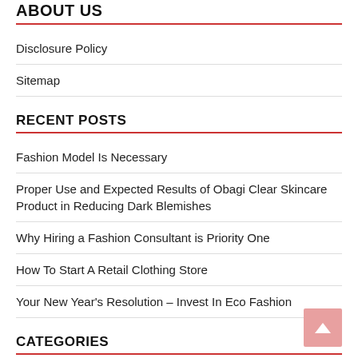ABOUT US
Disclosure Policy
Sitemap
RECENT POSTS
Fashion Model Is Necessary
Proper Use and Expected Results of Obagi Clear Skincare Product in Reducing Dark Blemishes
Why Hiring a Fashion Consultant is Priority One
How To Start A Retail Clothing Store
Your New Year's Resolution – Invest In Eco Fashion
CATEGORIES
Advertising & Marketing